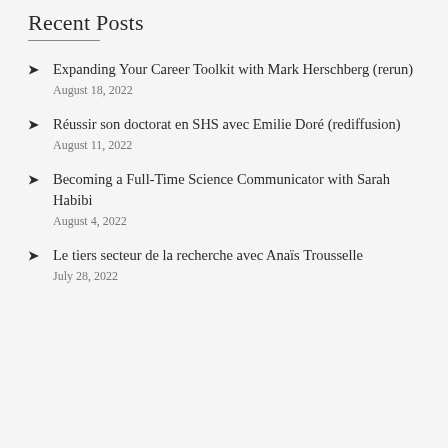Recent Posts
Expanding Your Career Toolkit with Mark Herschberg (rerun)
August 18, 2022
Réussir son doctorat en SHS avec Emilie Doré (rediffusion)
August 11, 2022
Becoming a Full-Time Science Communicator with Sarah Habibi
August 4, 2022
Le tiers secteur de la recherche avec Anaïs Trousselle
July 28, 2022